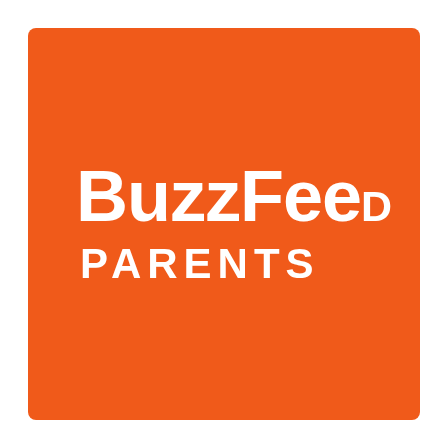[Figure (logo): BuzzFeed Parents logo: orange square background with white bold text 'BuzzFeed' on top line and 'PARENTS' in spaced capitals below]